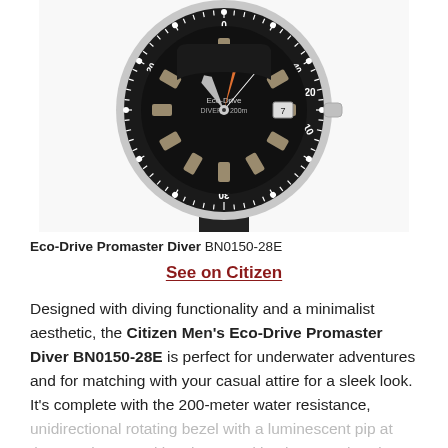[Figure (photo): Citizen Eco-Drive Promaster Diver BN0150-28E watch with black dial, black rubber strap, silver case, orange and luminescent hands, and rotating diver's bezel marked to 200m]
Eco-Drive Promaster Diver BN0150-28E
See on Citizen
Designed with diving functionality and a minimalist aesthetic, the Citizen Men's Eco-Drive Promaster Diver BN0150-28E is perfect for underwater adventures and for matching with your casual attire for a sleek look. It's complete with the 200-meter water resistance, unidirectional rotating bezel with a luminescent pip at the 60-minute position, large and luminescent hands and ho